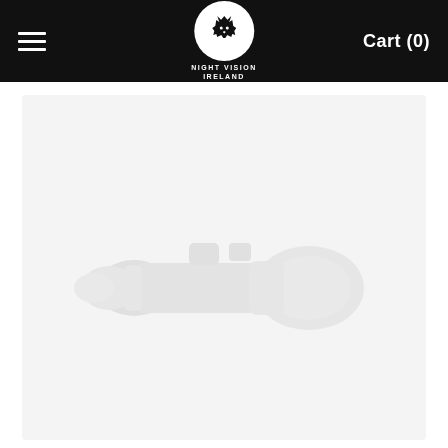Night Vision Ireland — Cart (0)
[Figure (photo): A faded/watermarked image of a night vision rifle scope on a light grey background]